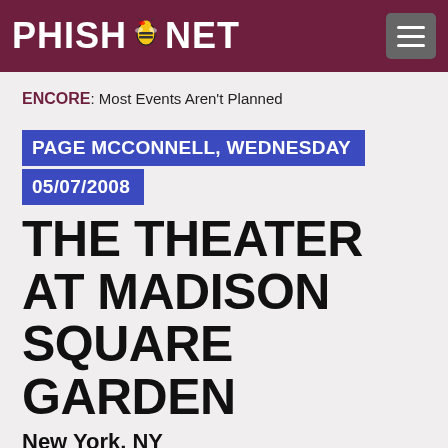PHISH.NET
ENCORE: Most Events Aren't Planned
PAGE MCCONNELL, WEDNESDAY 05/07/2008
THE THEATER AT MADISON SQUARE GARDEN
New York, NY
SET 1: Magilla, Cars Trucks Buses